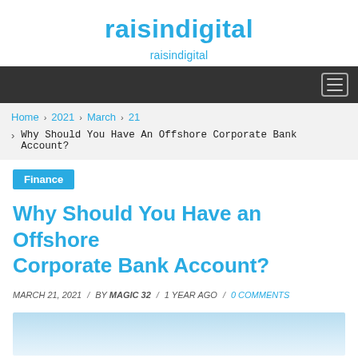raisindigital
raisindigital
Home > 2021 > March > 21
> Why Should You Have An Offshore Corporate Bank Account?
Finance
Why Should You Have an Offshore Corporate Bank Account?
MARCH 21, 2021 / BY MAGIC 32 / 1 YEAR AGO / 0 COMMENTS
[Figure (photo): Partial photo of a person, light blue background, bottom of page]